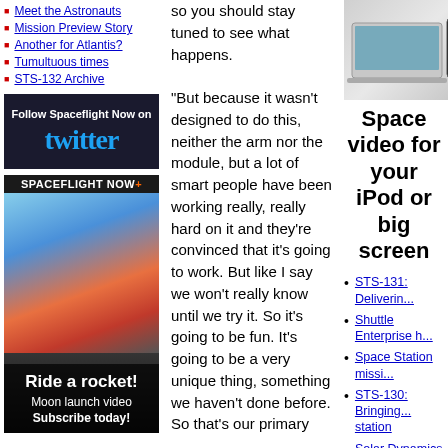Meet the Astronauts
Mission Preview Story
Another for Atlantis?
Tumultuous times
STS-132 Archive
[Figure (screenshot): Follow Spaceflight Now on Twitter banner]
[Figure (photo): Spaceflight Now+ Ride a rocket! Moon launch video Subscribe today! advertisement with rocket launch image]
so you should stay tuned to see what happens. "But because it wasn't designed to do this, neither the arm nor the module, but a lot of smart people have been working really, really hard on it and they're convinced that it's going to work. But like I say we won't really know until we try it. So it's going to be fun. It's going to be a very unique thing, something we haven't done before. So that's our primary
[Figure (photo): Devices image showing laptop, iPod, and phone]
Space video for your iPod or big screen
STS-131: Deliverin...
Shuttle Enterprise h...
Space Station missi...
STS-130: Bringing... station
Solar Dynamics Ob...
GOES P weather sa...
Ares 1-X: The rock...
STS-129: Helping f... space station
STS-128: Bringing... station
Moon-bound Atlas... LCROSS
STS-127: Endeavou... mission